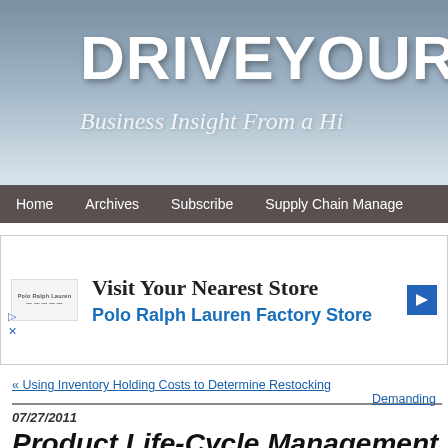DRIVEYOURSUCC
Business Insight From a Hi
Home   Archives   Subscribe   Supply Chain Manage
[Figure (other): Advertisement banner for Polo Ralph Lauren Factory Store: 'Visit Your Nearest Store' with logo and blue arrow]
« Using Inventory Holding Costs to Determine Restocking | Demanding
07/27/2011
Product Life-Cycle Management